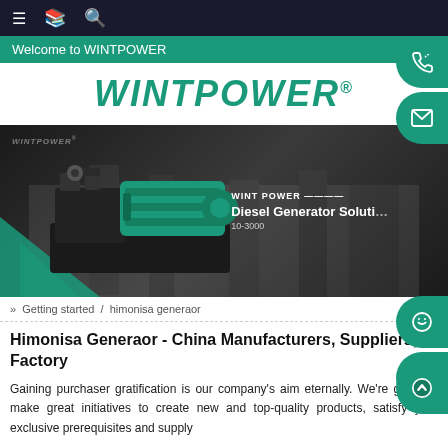Welcome to WINTPOWER
[Figure (logo): WINTPOWER registered trademark logo in teal/green italic bold text]
[Figure (photo): Industrial factory interior with green diesel generator set in the foreground, dark monochrome background, with WINTPOWER branding and text 'Diesel Generator Solution' and '10-3000']
» Getting started  /  himonisa generaor
Himonisa Generaor - China Manufacturers, Suppliers, Factory
Gaining purchaser gratification is our company's aim eternally. We're going to make great initiatives to create new and top-quality products, satisfy your exclusive prerequisites and supply